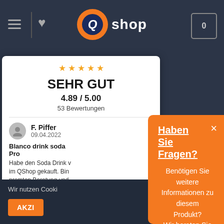[Figure (screenshot): QShop website header with hamburger menu, heart icon, Q shop orange logo, and cart icon showing 0]
[Figure (screenshot): Rating card showing SEHR GUT, 4.89/5.00, 53 Bewertungen, reviewer F. Piffer dated 09.04.2022, product Blanco drink soda Pro review text, and Hinweis zu den Bew link]
Wir nutzen Cooki
AKZI
Haben Sie Fragen?
Benötigen Sie weitere Informationen zu diesem Produkt? Wir beraten Sie gerne!
JA, ICH HAB EINE FRAGE!